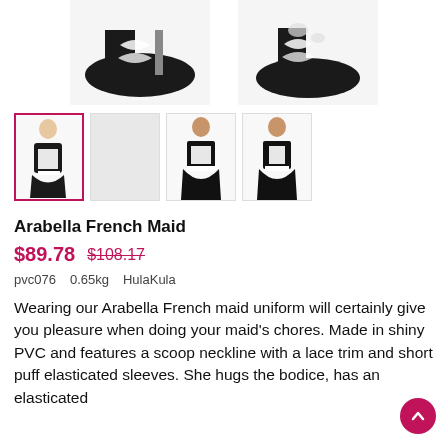[Figure (photo): Top portion of product images showing black and white French maid costume shoes/feet, two angles]
[Figure (screenshot): Thumbnail gallery row: selected thumbnail with pink border showing full maid costume, blank grey thumbnail, two thumbnails showing maid costume front and side views]
Arabella French Maid
$89.78  $108.17
pvc076   0.65kg   HulaKula
Wearing our Arabella French maid uniform will certainly give you pleasure when doing your maid's chores. Made in shiny PVC and features a scoop neckline with a lace trim and short puff elasticated sleeves. She hugs the bodice, has an elasticated